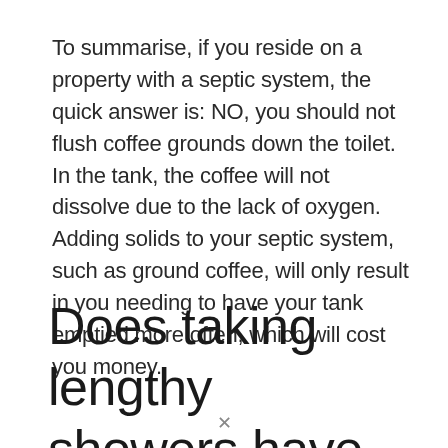To summarise, if you reside on a property with a septic system, the quick answer is: NO, you should not flush coffee grounds down the toilet. In the tank, the coffee will not dissolve due to the lack of oxygen. Adding solids to your septic system, such as ground coffee, will only result in you needing to have your tank emptied more often, which will cost you money.
Does taking lengthy showers have an adverse